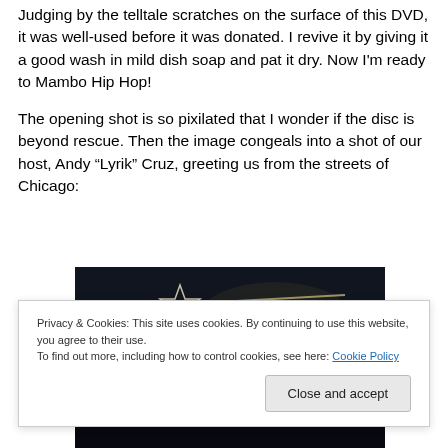Judging by the telltale scratches on the surface of this DVD, it was well-used before it was donated. I revive it by giving it a good wash in mild dish soap and pat it dry. Now I'm ready to Mambo Hip Hop!
The opening shot is so pixilated that I wonder if the disc is beyond rescue. Then the image congeals into a shot of our host, Andy “Lyrik” Cruz, greeting us from the streets of Chicago:
[Figure (photo): Dark nighttime photo showing a flag with a star and striped pattern illuminated with lights, partially cropped]
Privacy & Cookies: This site uses cookies. By continuing to use this website, you agree to their use.
To find out more, including how to control cookies, see here: Cookie Policy